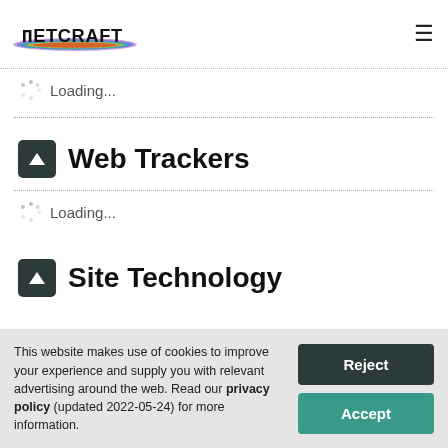Netcraft
Loading...
Web Trackers
Loading...
Site Technology
This website makes use of cookies to improve your experience and supply you with relevant advertising around the web. Read our privacy policy (updated 2022-05-24) for more information.